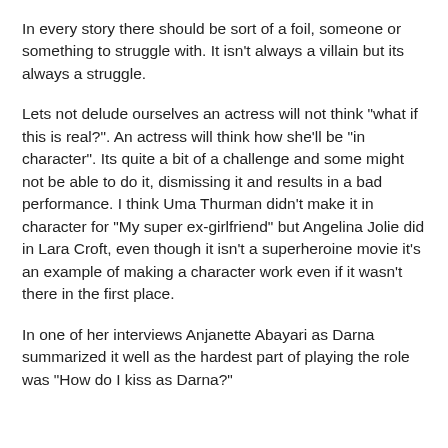In every story there should be sort of a foil, someone or something to struggle with. It isn't always a villain but its always a struggle.
Lets not delude ourselves an actress will not think "what if this is real?". An actress will think how she'll be "in character". Its quite a bit of a challenge and some might not be able to do it, dismissing it and results in a bad performance. I think Uma Thurman didn't make it in character for "My super ex-girlfriend" but Angelina Jolie did in Lara Croft, even though it isn't a superheroine movie it's an example of making a character work even if it wasn't there in the first place.
In one of her interviews Anjanette Abayari as Darna summarized it well as the hardest part of playing the role was "How do I kiss as Darna?"